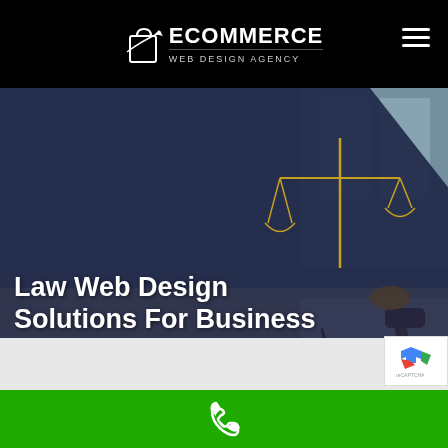[Figure (logo): Ecommerce Web Design Agency logo with shopping bag icon and white text on black background]
[Figure (photo): Hero banner showing a lawyer/legal professional at a desk with scales of justice and a gavel, dark blue overlay on left side with law web design headline text]
Law Web Design Solutions For Business
[Figure (other): reCAPTCHA badge in bottom right corner]
[Figure (other): Green call-to-action bar at bottom with white phone icon]